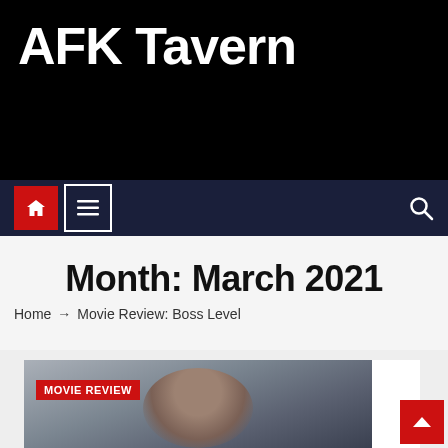AFK Tavern
Month: March 2021
Home → Movie Review: Boss Level
[Figure (photo): Screenshot of AFK Tavern website showing a movie review article card with a photo of a man with dark hair and sunglasses, with a red 'MOVIE REVIEW' tag overlay]